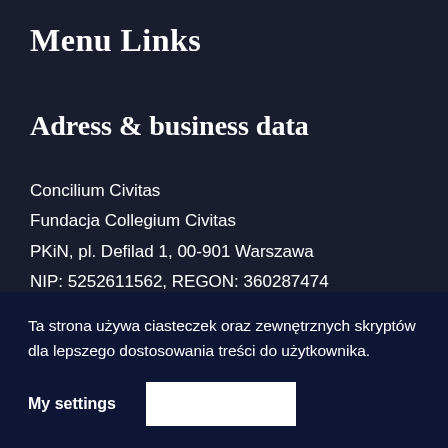Menu Links
Adress & business data
Concilium Civitas
Fundacja Collegium Civitas
PKiN, pl. Defilad 1, 00-901 Warszawa
NIP: 5252611562, REGON: 360287474
Jacek Żakowski – Head of New Media and Journalism Faculty at
Ta strona używa ciasteczek oraz zewnętrznych skryptów dla lepszego dostosowania treści do użytkownika.
My settings